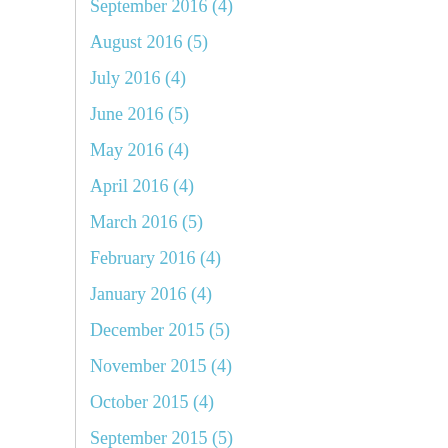September 2016 (4)
August 2016 (5)
July 2016 (4)
June 2016 (5)
May 2016 (4)
April 2016 (4)
March 2016 (5)
February 2016 (4)
January 2016 (4)
December 2015 (5)
November 2015 (4)
October 2015 (4)
September 2015 (5)
August 2015 (5)
July 2015 (5)
June 2015 (4)
May 2015 (4)